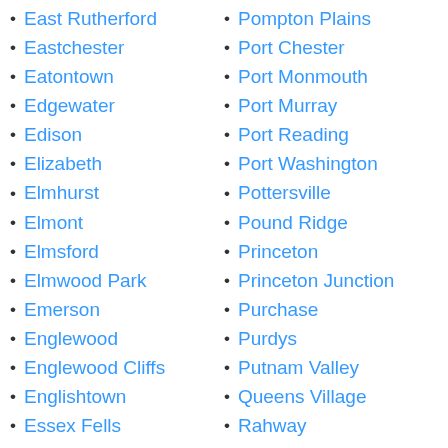East Rutherford
Eastchester
Eatontown
Edgewater
Edison
Elizabeth
Elmhurst
Elmont
Elmsford
Elmwood Park
Emerson
Englewood
Englewood Cliffs
Englishtown
Essex Fells
Fair Haven
Fair Lawn
Fairfield
Fairview
Pompton Plains
Port Chester
Port Monmouth
Port Murray
Port Reading
Port Washington
Pottersville
Pound Ridge
Princeton
Princeton Junction
Purchase
Purdys
Putnam Valley
Queens Village
Rahway
Ramsey
Randolph
Raritan
Red Bank